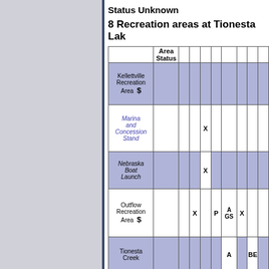Status Unknown
8 Recreation areas at Tionesta Lak
|  | Area Status |  |  |  |  |  |  |  |  |
| --- | --- | --- | --- | --- | --- | --- | --- | --- | --- |
| Kellettville Recreation Area $ |  |  |  |  |  |  |  |  |  |
| Marina and Concession Stand |  |  |  | X |  |  |  |  |  |
| Nebraska Boat Launch |  |  |  | X |  |  |  |  |  |
| Outflow Recreation Area $ |  |  | X |  | P | A GS | X |  |  |
| Tionesta Creek |  |  |  |  |  | A |  | BE |  |